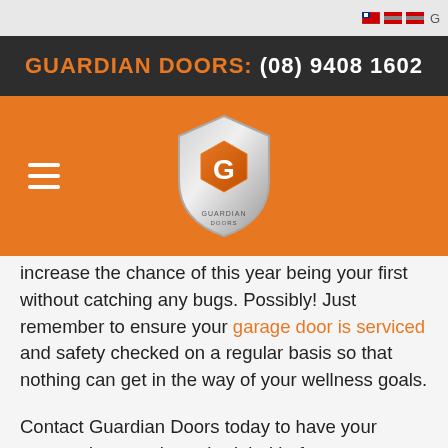GUARDIAN DOORS: (08) 9408 1602
[Figure (logo): Guardian Doors shield logo in silver and orange with text 'GUARDIAN DOORS' inside]
increase the chance of this year being your first without catching any bugs. Possibly! Just remember to ensure your garage door is serviced and safety checked on a regular basis so that nothing can get in the way of your wellness goals.
Contact Guardian Doors today to have your garage door service scheduled before you start using your private